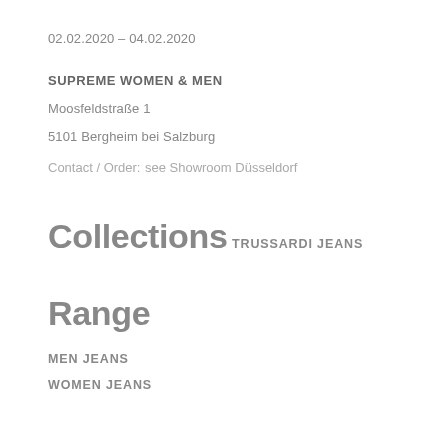02.02.2020 – 04.02.2020
SUPREME WOMEN & MEN
Moosfeldstraße 1
5101 Bergheim bei Salzburg
Contact / Order:
see Showroom Düsseldorf
Collections
TRUSSARDI JEANS
Range
MEN JEANS
WOMEN JEANS